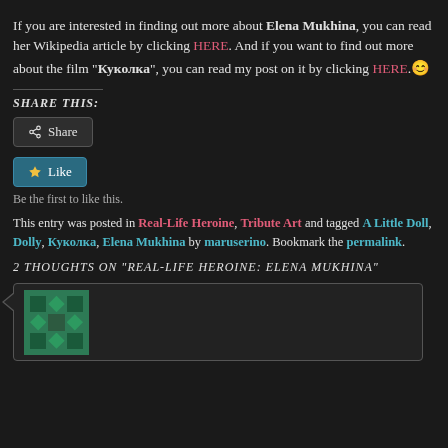If you are interested in finding out more about Elena Mukhina, you can read her Wikipedia article by clicking HERE. And if you want to find out more about the film "Куколка", you can read my post on it by clicking HERE.😊
SHARE THIS:
Share button
Like button
Be the first to like this.
This entry was posted in Real-Life Heroine, Tribute Art and tagged A Little Doll, Dolly, Куколка, Elena Mukhina by maruserino. Bookmark the permalink.
2 THOUGHTS ON "REAL-LIFE HEROINE: ELENA MUKHINA"
[Figure (illustration): A green geometric avatar/identicon image with diamond and square patterns in green and dark green colors on a white background]